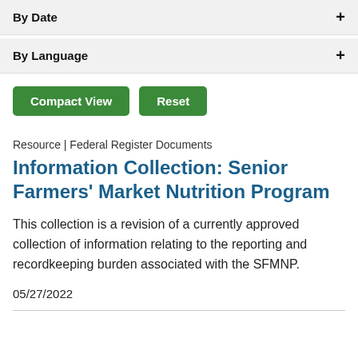By Date
By Language
Compact View
Reset
Resource | Federal Register Documents
Information Collection: Senior Farmers' Market Nutrition Program
This collection is a revision of a currently approved collection of information relating to the reporting and recordkeeping burden associated with the SFMNP.
05/27/2022